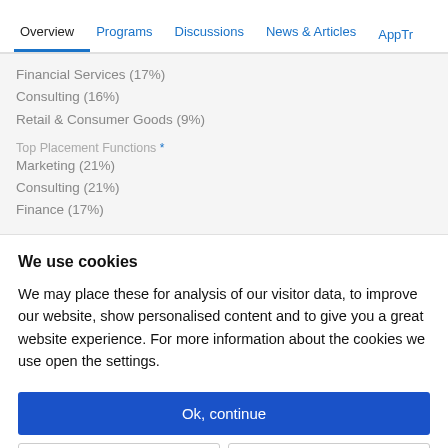Overview | Programs | Discussions | News & Articles | AppTr
Financial Services (17%)
Consulting (16%)
Retail & Consumer Goods (9%)
Top Placement Functions *
Marketing (21%)
Consulting (21%)
Finance (17%)
We use cookies
We may place these for analysis of our visitor data, to improve our website, show personalised content and to give you a great website experience. For more information about the cookies we use open the settings.
Ok, continue
Deny
No, adjust